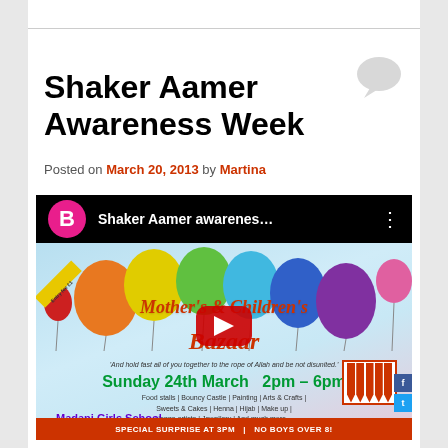Shaker Aamer Awareness Week
Posted on March 20, 2013 by Martina
[Figure (screenshot): YouTube video thumbnail showing a Mother's & Children's Bazaar flyer event at Madani Girls School, Myrdle Street, London E1 1HL on Sunday 24th March 2pm-6pm, with YouTube play button overlay]